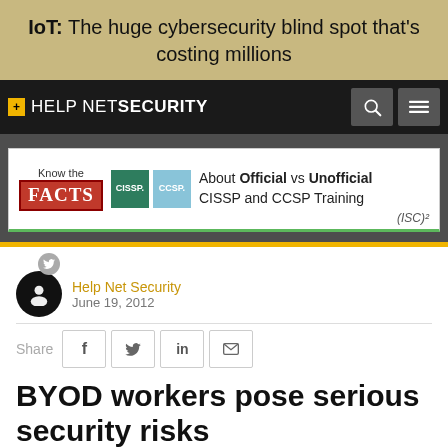IoT: The huge cybersecurity blind spot that's costing millions
[Figure (logo): Help Net Security navigation bar with logo, search icon, and menu icon]
[Figure (infographic): Advertisement: Know the FACTS about Official vs Unofficial CISSP and CCSP Training by ISC2]
Help Net Security
June 19, 2012
BYOD workers pose serious security risks
Fortinet conducted a global survey that reveals the extent